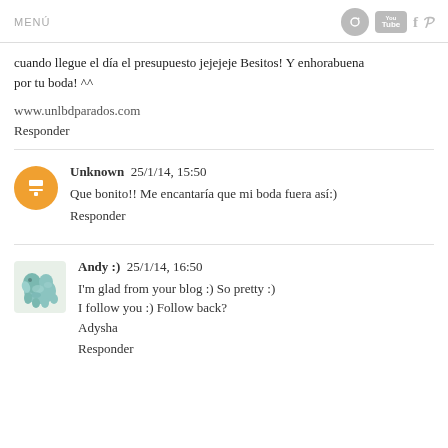MENÚ
cuando llegue el día el presupuesto jejejeje Besitos! Y enhorabuena por tu boda! ^^
www.unlbdparados.com
Responder
Unknown 25/1/14, 15:50
Que bonito!! Me encantaría que mi boda fuera así:)
Responder
Andy :) 25/1/14, 16:50
I'm glad from your blog :) So pretty :)
I follow you :) Follow back?
Adysha
Responder